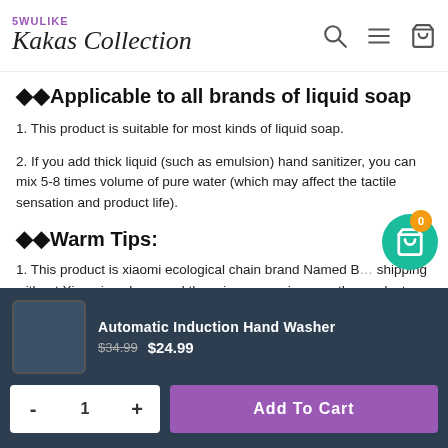5WULIKE Kakas Collection — navigation header with search, menu, and cart icons
◆◆Applicable to all brands of liquid soap
1. This product is suitable for most kinds of liquid soap.
2. If you add thick liquid (such as emulsion) hand sanitizer, you can mix 5-8 times volume of pure water (which may affect the tactile sensation and product life).
◆◆Warm Tips:
1. This product is xiaomi ecological chain brand Named B... shipping without Xiaomi package and there is no any xiao...on the product. Thanks for your understanding.
2. Note: This package does not include batteries, liquid soap, Foam
Automatic Induction Hand Washer — $34.99 $24.99
Quantity: 1 | Add To Cart